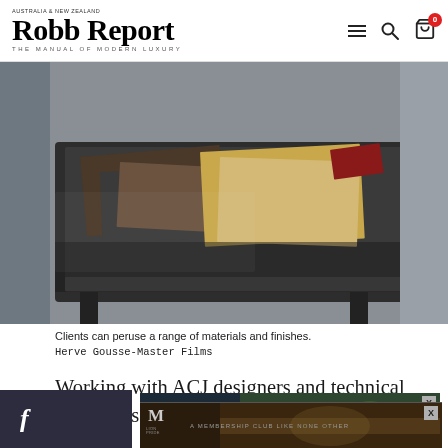Robb Report – THE MANUAL OF MODERN LUXURY
[Figure (photo): A dark metal tray or drawer containing various fabric and material swatches in different colors and textures including leather, textile samples and paper sheets arranged on a desk or table surface.]
Clients can peruse a range of materials and finishes.
Herve Gousse-Master Films
Working with ACJ designers and technical specialists, you'll explore different layouts, colour sche[mes and finishes befo]re
[Figure (photo): Advertisement overlay: A membership club like none other – aerial view of luxury resort with pools and greenery, dark background branding.]